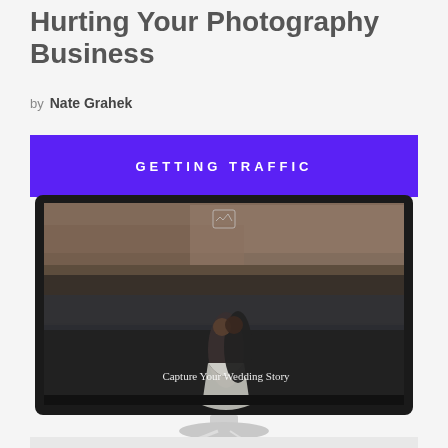Why A/B Testing Email Marketing is Hurting Your Photography Business
by Nate Grahek
GETTING TRAFFIC
[Figure (screenshot): A computer monitor displaying a wedding photography website with the headline 'Capture Your Wedding Story' overlaid on an image of a couple kissing outdoors with cliffs in the background. The monitor is white and sitting on a desk.]